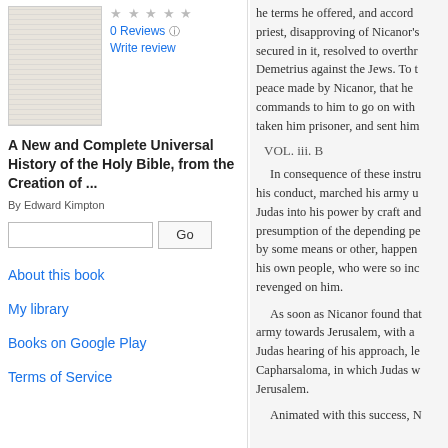[Figure (illustration): Thumbnail image of a book cover]
0 Reviews
Write review
A New and Complete Universal History of the Holy Bible, from the Creation of ...
By Edward Kimpton
[Search input and Go button]
About this book
My library
Books on Google Play
Terms of Service
the terms he offered, and accord priest, disapproving of Nicanor's secured in it, resolved to overthr Demetrius against the Jews. To t peace made by Nicanor, that he commands to him to go on with taken him prisoner, and sent him
VOL. iii. B
In consequence of these instru his conduct, marched his army u Judas into his power by craft and presumption of the depending pe by some means or other, happen his own people, who were so inc revenged on him.
As soon as Nicanor found that army towards Jerusalem, with a Judas hearing of his approach, le Capharsaloma, in which Judas w Jerusalem.
Animated with this success, N